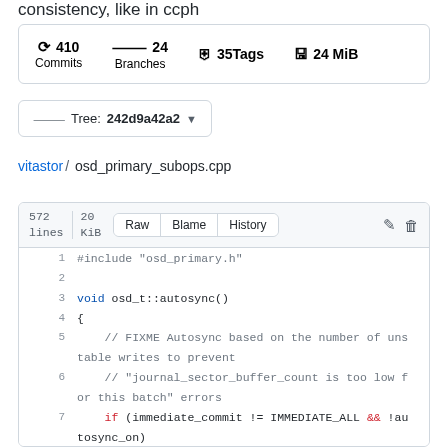consistency, like in ccph
410 Commits   24 Branches   35 Tags   24 MiB
Tree: 242d9a42a2
vitastor / osd_primary_subops.cpp
572 lines   20 KiB   Raw   Blame   History
1  #include "osd_primary.h"
2
3  void osd_t::autosync()
4  {
5      // FIXME Autosync based on the number of unstable writes to prevent
6      // "journal_sector_buffer_count is too low for this batch" errors
7      if (immediate_commit != IMMEDIATE_ALL && !autosync_on)